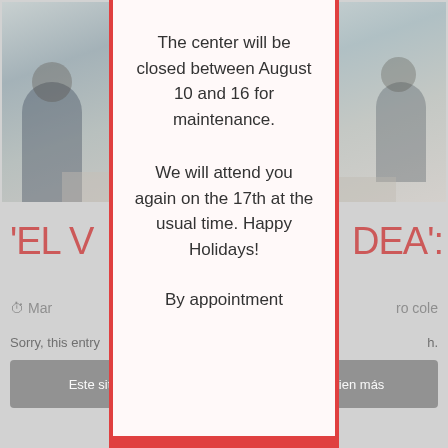[Figure (photo): Background webpage screenshot showing an office/study center interior photo on the left and right sides, with partially visible Spanish/English website content including text 'EL V...' and 'DEA:' in red, grayed-out buttons and body text, overlaid by a modal dialog.]
The center will be closed between August 10 and 16 for maintenance.

We will attend you again on the 17th at the usual time. Happy Holidays!

By appointment